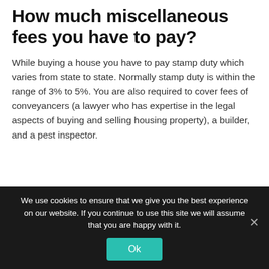How much miscellaneous fees you have to pay?
While buying a house you have to pay stamp duty which varies from state to state. Normally stamp duty is within the range of 3% to 5%. You are also required to cover fees of conveyancers (a lawyer who has expertise in the legal aspects of buying and selling housing property), a builder, and a pest inspector.
We use cookies to ensure that we give you the best experience on our website. If you continue to use this site we will assume that you are happy with it.